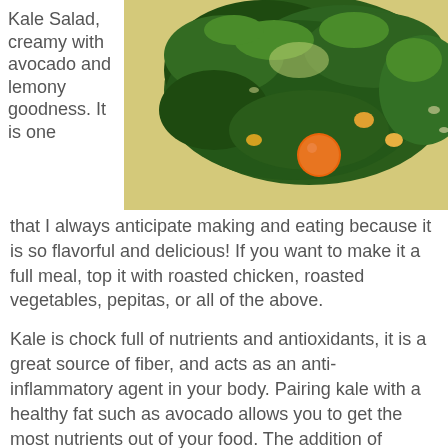Kale Salad, creamy with avocado and lemony goodness. It is one
[Figure (photo): Close-up photo of a kale salad with cherry tomatoes and other colorful vegetables on a plate]
that I always anticipate making and eating because it is so flavorful and delicious!  If you want to make it a full meal, top it with roasted chicken, roasted vegetables, pepitas, or all of the above.
Kale is chock full of nutrients and antioxidants, it is a great source of fiber, and acts as an anti-inflammatory agent in your body. Pairing kale with a healthy fat such as avocado allows you to get the most nutrients out of your food. The addition of vitamin C from lemon also helps you absorb more iron from your kale. Win-win-